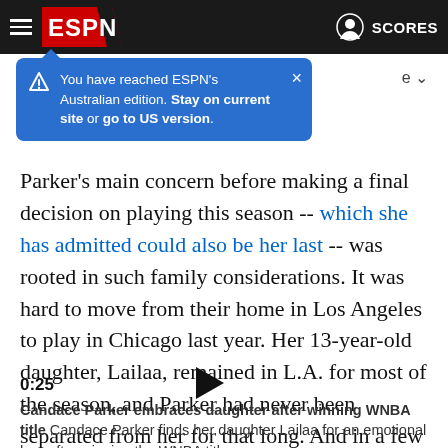ESPN — SCORES
You have reached ESPN's Australian edition. Stay on current site or go to US version.
Parker's main concern before making a final decision on playing this season -- which she has admitted could also be her last -- was rooted in such family considerations. It was hard to move from their home in Los Angeles to play in Chicago last year. Her 13-year-old daughter, Lailaa, remained in L.A. for most of the season, and Parker had never been separated from her for that long. And in a few months, Parker and Petrakova would have a newborn.
[Figure (other): Video player showing 0:25 timestamp with play button triangle]
Candace Parker embraces daughter after winning WNBA title Candace Parker finds her daughter Lailaa for an emotional hug after winning the WNBA title.